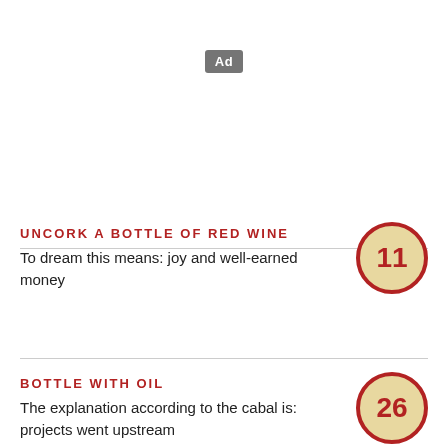[Figure (other): Ad placeholder badge with grey background showing 'Ad' text]
UNCORK A BOTTLE OF RED WINE
To dream this means: joy and well-earned money
BOTTLE WITH OIL
The explanation according to the cabal is: projects went upstream